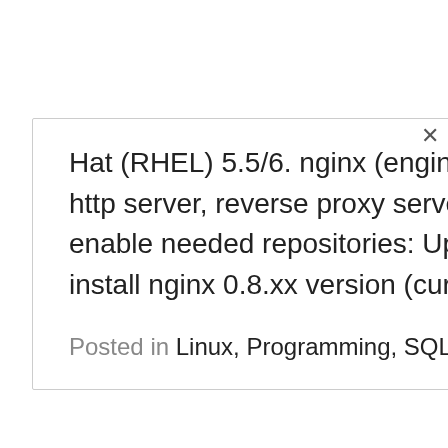Hat (RHEL) 5.5/6. nginx (engine x) is a robust, small and high performance http server, reverse proxy server and also mail proxy server. 1. Add and enable needed repositories: Updated 19.3.2010 Use following repositories to install nginx 0.8.xx version (currently 0.8.36 version) rpm -Uvh...
Posted in Linux, Programming, SQL